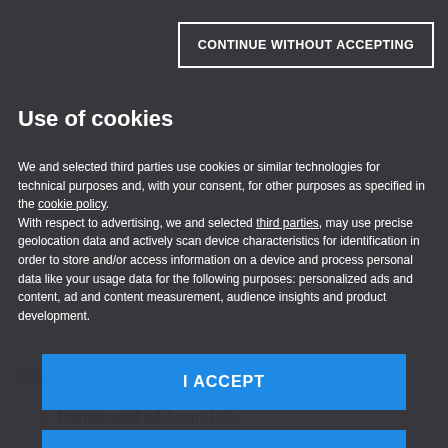[Figure (screenshot): Cookie consent modal overlay on a recipe webpage (Mondadori Media). Dark grey overlay with 'Continue without accepting' button at top right, 'Use of cookies' title, body text about cookies and third-party data use, 'I ACCEPT' and 'CUSTOMIZE' buttons, and Mondadori Media logo. Behind the modal, a recipe page shows 'FOR FRYING' heading and 'Peanut seed oil 4 cups (1 l)' list item.]